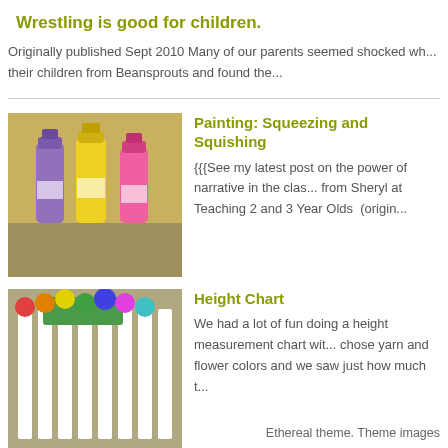Wrestling is good for children.
Originally published Sept 2010 Many of our parents seemed shocked wh... their children from Beansprouts and found the...
[Figure (photo): Three paint squeeze bottles (purple, yellow, pink) on a surface]
Painting: Squeezing and Squishing
{{{See my latest post on the power of narrative in the clas... from Sheryl at Teaching 2 and 3 Year Olds  (origin...
[Figure (photo): Height measurement chart with colorful flower decorations on a wall]
Height Chart
We had a lot of fun doing a height measurement chart with... chose yarn and flower colors and we saw just how much t...
Ethereal theme. Theme images